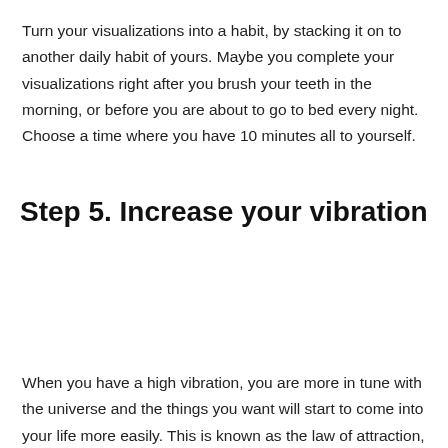Turn your visualizations into a habit, by stacking it on to another daily habit of yours. Maybe you complete your visualizations right after you brush your teeth in the morning, or before you are about to go to bed every night. Choose a time where you have 10 minutes all to yourself.
Step 5. Increase your vibration
When you have a high vibration, you are more in tune with the universe and the things you want will start to come into your life more easily. This is known as the law of attraction, which says positive or